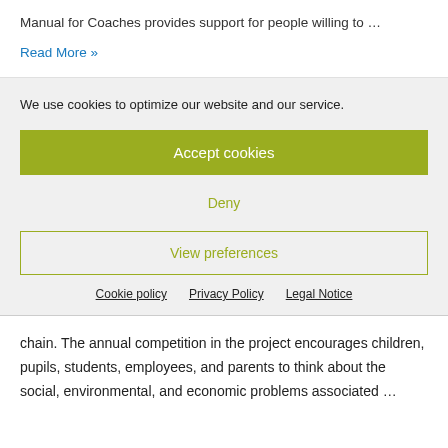Manual for Coaches provides support for people willing to …
Read More »
We use cookies to optimize our website and our service.
Accept cookies
Deny
View preferences
Cookie policy  Privacy Policy  Legal Notice
chain. The annual competition in the project encourages children, pupils, students, employees, and parents to think about the social, environmental, and economic problems associated …